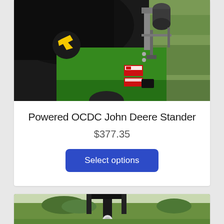[Figure (photo): Close-up photo of a John Deere green mower/stander machine with black body parts, metal mechanical components including brackets and a rod, red warning sticker labels, and green grass in the background]
Powered OCDC John Deere Stander
$377.35
Select options
[Figure (photo): Partially visible photo showing green grass landscape and what appears to be a dark mechanical device or tool in an outdoor setting]